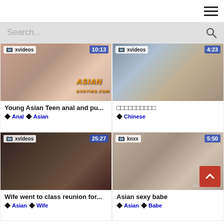[Figure (screenshot): Website header with hamburger menu icon]
[Figure (screenshot): Search bar with placeholder text 'Search...' and search icon]
[Figure (screenshot): Video thumbnail for 'Young Asian Teen anal and pu...' from xvideos, duration 10:13]
Young Asian Teen anal and pu...
Anal  Asian
[Figure (screenshot): Video thumbnail with Chinese title, from xvideos, duration 4:23]
□□□□□□□□□□
Chinese
[Figure (screenshot): Video thumbnail for 'Wife went to class reunion for...' from xvideos, duration 25:27]
Wife went to class reunion for...
Asian  Wife
[Figure (screenshot): Video thumbnail for 'Asian sexy babe' from knxx, duration 5:50]
Asian sexy babe
Asian  Babe